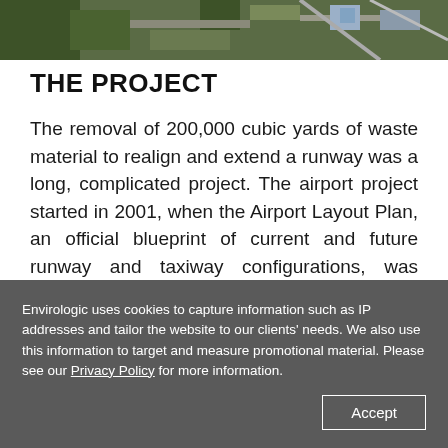[Figure (photo): Aerial photograph of an airport showing runways, taxiways, and surrounding landscape with trees and roads]
THE PROJECT
The removal of 200,000 cubic yards of waste material to realign and extend a runway was a long, complicated project. The airport project started in 2001, when the Airport Layout Plan, an official blueprint of current and future runway and taxiway configurations, was approved by MDOT-Aeronautics, the FAA, and Airport officials. The plan addressed the existing runway end safety area deficiencies...
Envirologic uses cookies to capture information such as IP addresses and tailor the website to our clients' needs. We also use this information to target and measure promotional material. Please see our Privacy Policy for more information.